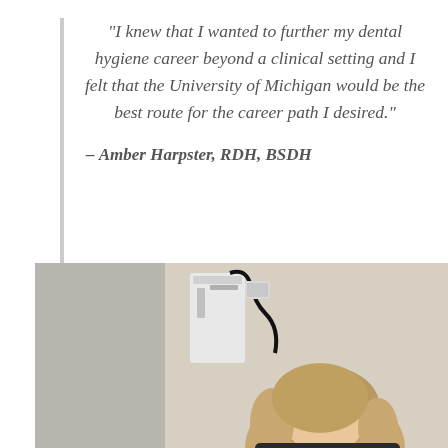“I knew that I wanted to further my dental hygiene career beyond a clinical setting and I felt that the University of Michigan would be the best route for the career path I desired.”
– Amber Harpster, RDH, BSDH
[Figure (photo): Photo of a woman (Amber Harpster) in what appears to be a dental clinical setting, with dental equipment visible in the background. The photo shows her from approximately shoulder level up, with blonde hair.]